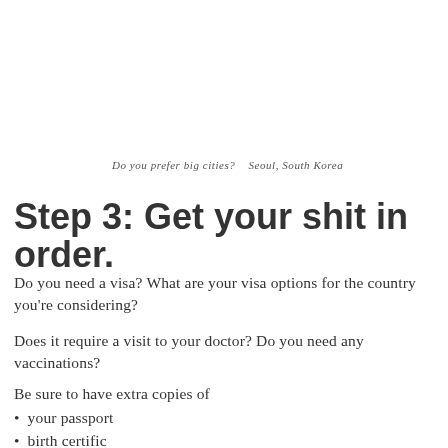Do you prefer big cities?    Seoul, South Korea
Step 3: Get your shit in order.
Do you need a visa? What are your visa options for the country you're considering?
Does it require a visit to your doctor? Do you need any vaccinations?
Be sure to have extra copies of
your passport
birth certificate